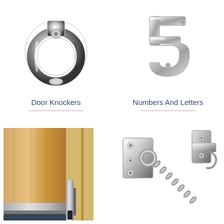[Figure (photo): Chrome ring-style door knocker on white background]
Door Knockers
[Figure (photo): Chrome number 5 house number/letter on white background]
Numbers And Letters
[Figure (photo): Door draught excluder seal strip installed on door bottom edge — grey aluminium profile with dark rubber seal, shown against wooden door]
[Figure (photo): Chrome door chain security latch with wall plate and chain links]